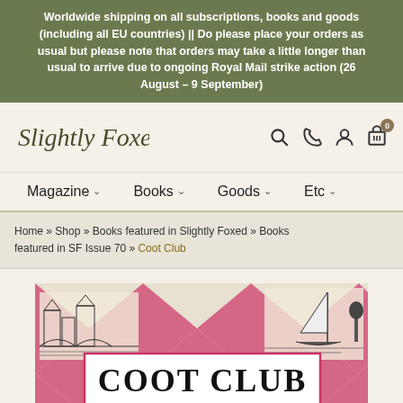Worldwide shipping on all subscriptions, books and goods (including all EU countries) || Do please place your orders as usual but please note that orders may take a little longer than usual to arrive due to ongoing Royal Mail strike action (26 August – 9 September)
[Figure (logo): Slightly Foxed cursive logo]
[Figure (other): Navigation icons: search, phone, account, shopping cart with badge 0]
Magazine ∨   Books ∨   Goods ∨   Etc ∨
Home » Shop » Books featured in Slightly Foxed » Books featured in SF Issue 70 » Coot Club
[Figure (illustration): Book cover of Coot Club showing illustrated scenes of Norfolk Broads with boats and buildings, title text COOT CLUB in large serif font, with Arthur Ransome below]